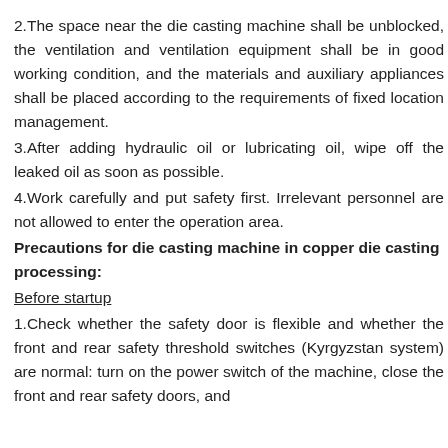2.The space near the die casting machine shall be unblocked, the ventilation and ventilation equipment shall be in good working condition, and the materials and auxiliary appliances shall be placed according to the requirements of fixed location management.
3.After adding hydraulic oil or lubricating oil, wipe off the leaked oil as soon as possible.
4.Work carefully and put safety first. Irrelevant personnel are not allowed to enter the operation area.
Precautions for die casting machine in copper die casting processing:
Before startup
1.Check whether the safety door is flexible and whether the front and rear safety threshold switches (Kyrgyzstan system) are normal: turn on the power switch of the machine, close the front and rear safety doors, and